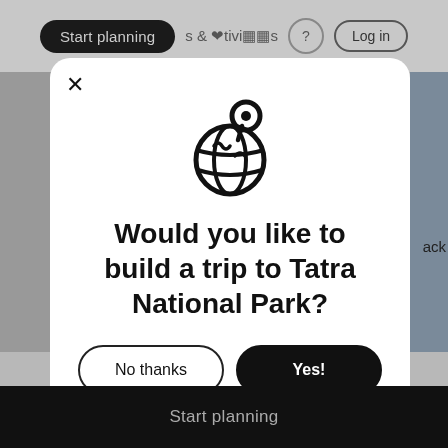[Figure (screenshot): Top navigation bar showing 'Start planning' pill button, activities icons, help icon, and Log in button on a gray background]
[Figure (screenshot): Modal dialog with globe/location pin icon, question text, and two buttons: 'No thanks' and 'Yes!']
Would you like to build a trip to Tatra National Park?
No thanks
Yes!
Start planning